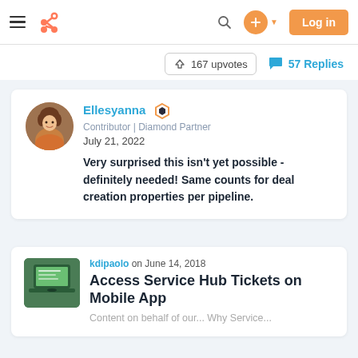[Figure (screenshot): HubSpot community website navigation bar with hamburger menu, HubSpot logo, search icon, plus button, and orange Log in button]
167 upvotes   57 Replies
Ellesyanna
Contributor | Diamond Partner
July 21, 2022
Very surprised this isn't yet possible - definitely needed! Same counts for deal creation properties per pipeline.
Access Service Hub Tickets on Mobile App
kdipaolo on June 14, 2018